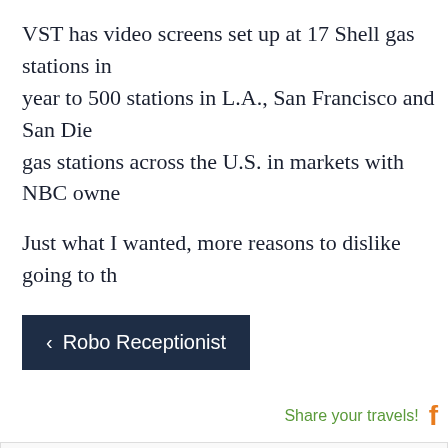VST has video screens set up at 17 Shell gas stations in year to 500 stations in L.A., San Francisco and San Die gas stations across the U.S. in markets with NBC owne
Just what I wanted, more reasons to dislike going to th
< Robo Receptionist
Share your travels!
ABOUT THE AUTHOR
[Figure (photo): Headshot photo of the author wearing sunglasses against a green background]
As The Genre Traveler, Carma Spenc Coloured glasses. In other words, sh fiction, fantasy, and horror, where tr